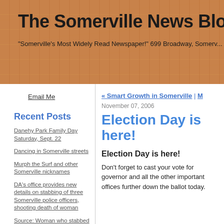The Somerville News Blog
"Somerville's Most Widely Read Newspaper!" 699 Broadway, Somerville, MA
Email Me
Recent Posts
Danehy Park Family Day Saturday, Sept. 22
Dancing in Somerville streets
Murph the Surf and other Somerville nicknames
DA's office provides new details on stabbing of three Somerville police officers, shooting death of woman
Source: Woman who stabbed three Somerville police officers sought mental care before deadly attack
It's my Party and I'll lie if I want to*
« Smart Growth in Somerville | M
November 07, 2006
Election Day is here!
Election Day is here!
Don't forget to cast your vote for governor and all the other important offices further down the ballot today.